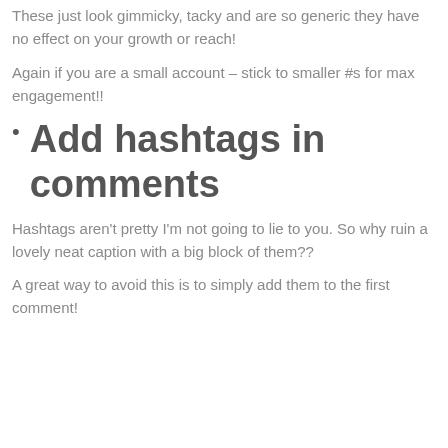These just look gimmicky, tacky and are so generic they have no effect on your growth or reach!
Again if you are a small account – stick to smaller #s for max engagement!!
Add hashtags in comments
Hashtags aren't pretty I'm not going to lie to you. So why ruin a lovely neat caption with a big block of them??
A great way to avoid this is to simply add them to the first comment!